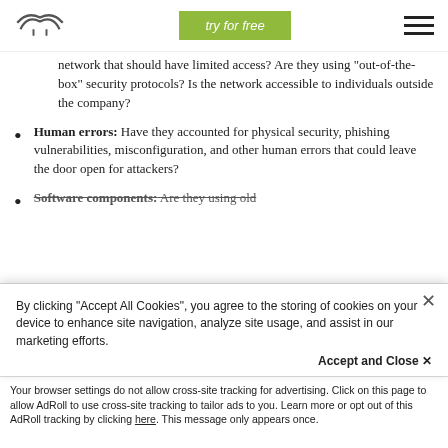try for free
network that should have limited access? Are they using “out-of-the-box” security protocols? Is the network accessible to individuals outside the company?
Human errors: Have they accounted for physical security, phishing vulnerabilities, misconfiguration, and other human errors that could leave the door open for attackers?
Software components: Are they using old
By clicking “Accept All Cookies”, you agree to the storing of cookies on your device to enhance site navigation, analyze site usage, and assist in our marketing efforts.
Accept and Close ×
Your browser settings do not allow cross-site tracking for advertising. Click on this page to allow AdRoll to use cross-site tracking to tailor ads to you. Learn more or opt out of this AdRoll tracking by clicking here. This message only appears once.